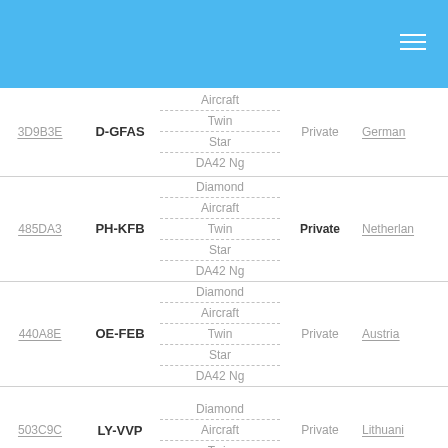| ID | Registration | Aircraft Type | Use | Country |
| --- | --- | --- | --- | --- |
| 3D9B3E | D-GFAS | Aircraft Twin Star DA42 Ng | Private | Germany |
| 485DA3 | PH-KFB | Diamond Aircraft Twin Star DA42 Ng | Private | Netherlands |
| 440A8E | OE-FEB | Diamond Aircraft Twin Star DA42 Ng | Private | Austria |
| 503C9C | LY-VVP | Diamond Aircraft Twin Star DA42 Ng | Private | Lithuania |